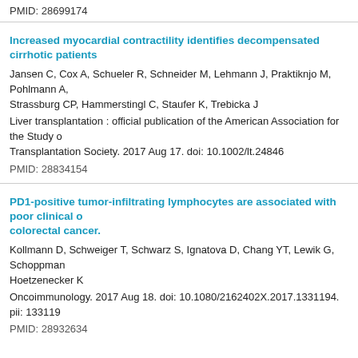PMID: 28699174
Increased myocardial contractility identifies decompensated cirrhotic patients
Jansen C, Cox A, Schueler R, Schneider M, Lehmann J, Praktiknjo M, Pohlmann A, Strassburg CP, Hammerstingl C, Staufer K, Trebicka J
Liver transplantation : official publication of the American Association for the Study of Liver Diseases and the International Liver Transplantation Society. 2017 Aug 17. doi: 10.1002/lt.24846
PMID: 28834154
PD1-positive tumor-infiltrating lymphocytes are associated with poor clinical outcome in colorectal cancer.
Kollmann D, Schweiger T, Schwarz S, Ignatova D, Chang YT, Lewik G, Schoppmann SF, Hoetzenecker K
Oncoimmunology. 2017 Aug 18. doi: 10.1080/2162402X.2017.1331194. pii: 133119
PMID: 28932634